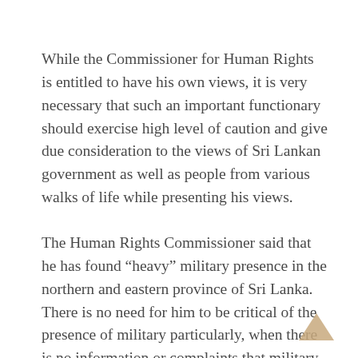While the Commissioner for Human Rights is entitled to have his own views, it is very necessary that such an important functionary should exercise high level of caution and give due consideration to the views of Sri Lankan government as well as people from various walks of life while presenting his views.
The Human Rights Commissioner said that he has found “heavy” military presence in the northern and eastern province of Sri Lanka. There is no need for him to be critical of the presence of military particularly, when there is no information or complaints that military has indulged in any atrocities at present.